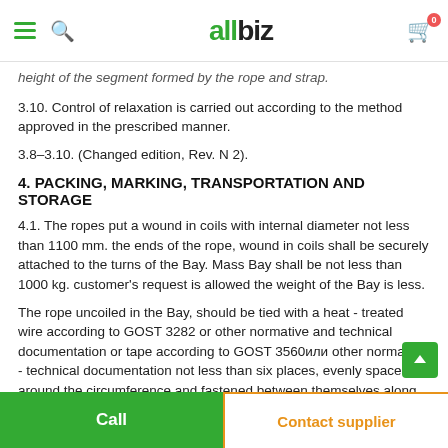allbiz (navigation header)
height of the segment formed by the rope and strap.
3.10. Control of relaxation is carried out according to the method approved in the prescribed manner.
3.8–3.10. (Changed edition, Rev. N 2).
4. PACKING, MARKING, TRANSPORTATION AND STORAGE
4.1. The ropes put a wound in coils with internal diameter not less than 1100 mm. the ends of the rope, wound in coils shall be securely attached to the turns of the Bay. Mass Bay shall be not less than 1000 kg. customer's request is allowed the weight of the Bay is less.
The rope uncoiled in the Bay, should be tied with a heat - treated wire according to GOST 3282 or other normative and technical documentation or tape according to GOST 3560или other normative - technical documentation not less than six places, evenly spaced around the circumference and fastened between themselves along
Call | Contact supplier